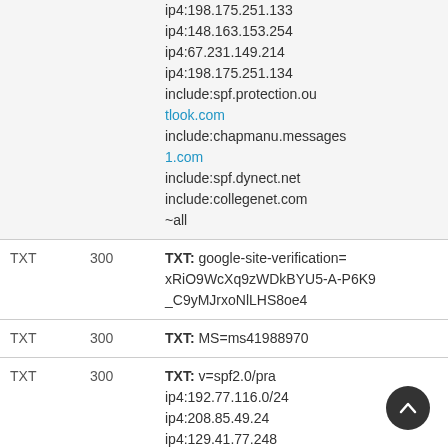| Type | TTL | Data |
| --- | --- | --- |
|  |  | ip4:198.175.251.133
ip4:148.163.153.254
ip4:67.231.149.214
ip4:198.175.251.134
include:spf.protection.ou
tlook.com
include:chapmanu.messages
1.com
include:spf.dynect.net
include:collegenet.com
~all |
| TXT | 300 | TXT: google-site-verification=xRiO9WcXq9zWDkBYU5-A-P6K9_C9yMJrxoNlLHS8oe4 |
| TXT | 300 | TXT: MS=ms41988970 |
| TXT | 300 | TXT: v=spf2.0/pra
ip4:192.77.116.0/24
ip4:208.85.49.24
ip4:129.41.77.248
ip4:100.175.251.133 |